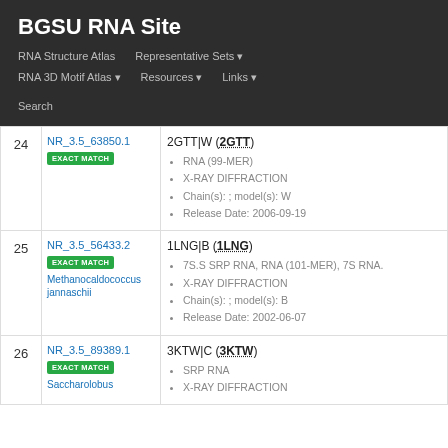BGSU RNA Site
RNA Structure Atlas | Representative Sets | RNA 3D Motif Atlas | Resources | Links | Search
| # | ID / Match | Details |
| --- | --- | --- |
| 24 | NR_3.5_63850.1 EXACT MATCH | 2GTT|W (2GTT)
• RNA (99-MER)
• X-RAY DIFFRACTION
• Chain(s): ; model(s): W
• Release Date: 2006-09-19 |
| 25 | NR_3.5_56433.2 EXACT MATCH Methanocaldococcus jannaschii | 1LNG|B (1LNG)
• 7S.S SRP RNA, RNA (101-MER), 7S RNA.
• X-RAY DIFFRACTION
• Chain(s): ; model(s): B
• Release Date: 2002-06-07 |
| 26 | NR_3.5_89389.1 EXACT MATCH Saccharolobus | 3KTW|C (3KTW)
• SRP RNA
• X-RAY DIFFRACTION |